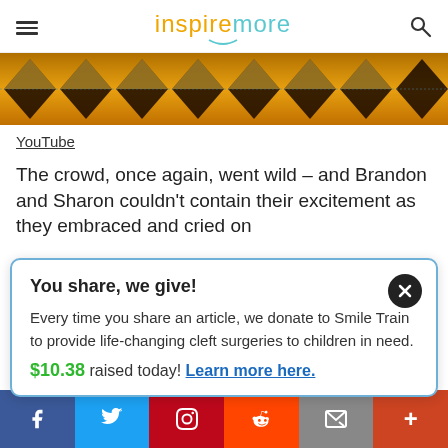inspiremore
[Figure (screenshot): YouTube video thumbnail strip showing a decorative diamond/gem pattern in black, yellow, and orange colors]
YouTube
The crowd, once again, went wild – and Brandon and Sharon couldn't contain their excitement as they embraced and cried on
You share, we give! Every time you share an article, we donate to Smile Train to provide life-changing cleft surgeries to children in need. $10.38 raised today! Learn more here.
f  Twitter  Pinterest  Reddit  Email  +